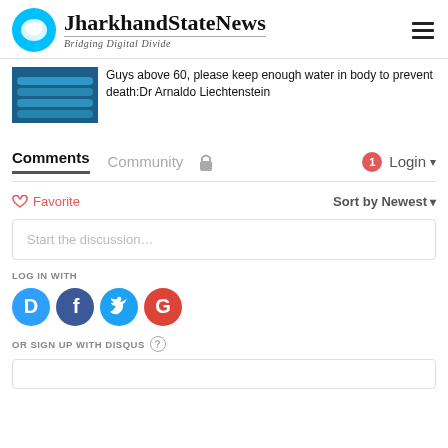JharkhandStateNews — Bridging Digital Divide
[Figure (photo): Thumbnail photo showing blue-tinted stacked cylinders/tubes]
Guys above 60, please keep enough water in body to prevent death:Dr Arnaldo Liechtenstein
Comments  Community  Login
Favorite   Sort by Newest
Start the discussion…
LOG IN WITH
[Figure (logo): Social login icons: Disqus (blue D), Facebook (dark blue f), Twitter (cyan bird), Google (red G)]
OR SIGN UP WITH DISQUS ?